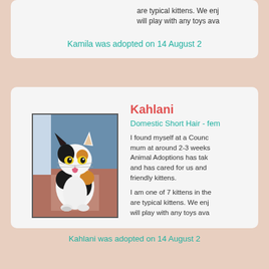are typical kittens. We enj will play with any toys ava
Kamila was adopted on 14 August 2
Kahlani
Domestic Short Hair - fem
[Figure (photo): A calico/tricolor kitten sitting upright, sticking out its tongue, photographed indoors against a blue background with a patterned fabric visible.]
I found myself at a Counc mum at around 2-3 weeks Animal Adoptions has tak and has cared for us and friendly kittens.
I am one of 7 kittens in the are typical kittens. We enj will play with any toys ava
Kahlani was adopted on 14 August 2